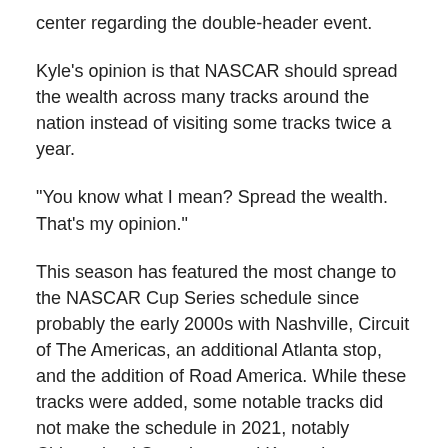center regarding the double-header event.
Kyle's opinion is that NASCAR should spread the wealth across many tracks around the nation instead of visiting some tracks twice a year.
“You know what I mean? Spread the wealth. That’s my opinion.”
This season has featured the most change to the NASCAR Cup Series schedule since probably the early 2000s with Nashville, Circuit of The Americas, an additional Atlanta stop, and the addition of Road America. While these tracks were added, some notable tracks did not make the schedule in 2021, notably Chicagoland Speedway and Kentucky Speedway.